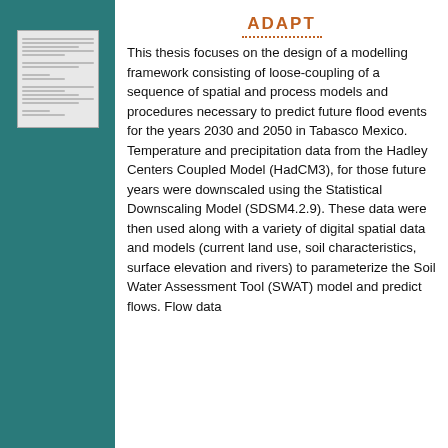[Figure (illustration): Thumbnail of a document page showing text lines in miniature, displayed on the left teal panel]
ADAPT
This thesis focuses on the design of a modelling framework consisting of loose-coupling of a sequence of spatial and process models and procedures necessary to predict future flood events for the years 2030 and 2050 in Tabasco Mexico. Temperature and precipitation data from the Hadley Centers Coupled Model (HadCM3), for those future years were downscaled using the Statistical Downscaling Model (SDSM4.2.9). These data were then used along with a variety of digital spatial data and models (current land use, soil characteristics, surface elevation and rivers) to parameterize the Soil Water Assessment Tool (SWAT) model and predict flows. Flow data